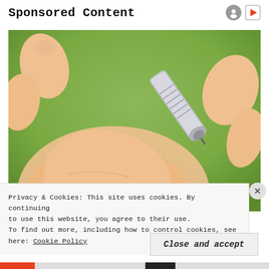Sponsored Content
[Figure (photo): Close-up photo of a blood glucose meter lancet device being pressed against a fingertip. Hand is open with palm upward, green blurred background.]
Privacy & Cookies: This site uses cookies. By continuing to use this website, you agree to their use. To find out more, including how to control cookies, see here: Cookie Policy
Close and accept